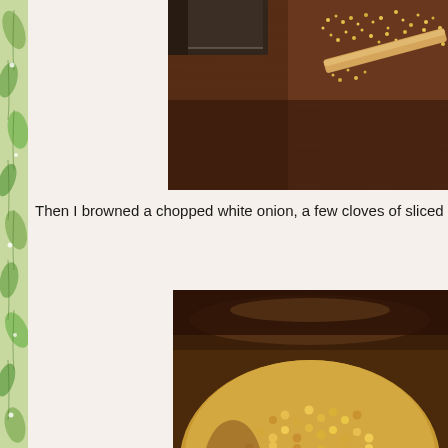[Figure (photo): Top photo: a knife chopping or cutting ingredients on a wooden cutting board, small yellow grain or seeds visible]
Then I browned a chopped white onion, a few cloves of sliced garlic
[Figure (photo): Bottom photo: close-up of golden/yellow lentils or small grains being cooked or browned in a dark pot, warm golden-brown tones]